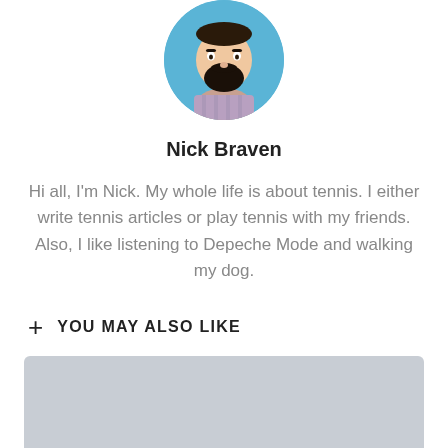[Figure (illustration): Cartoon avatar illustration of a man with a beard and mustache, wearing a striped shirt, displayed in a circular blue-background crop showing from shoulders up.]
Nick Braven
Hi all, I'm Nick. My whole life is about tennis. I either write tennis articles or play tennis with my friends. Also, I like listening to Depeche Mode and walking my dog.
+ YOU MAY ALSO LIKE
[Figure (other): Gray placeholder rectangle for a linked article or image card.]